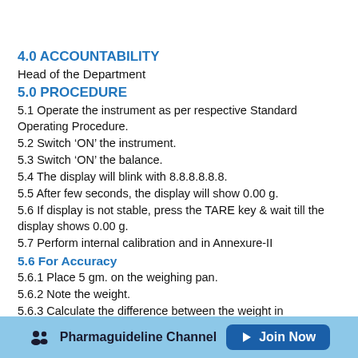4.0 ACCOUNTABILITY
Head of the Department
5.0 PROCEDURE
5.1 Operate the instrument as per respective Standard Operating Procedure.
5.2 Switch ‘ON’ the instrument.
5.3 Switch ‘ON’ the balance.
5.4 The display will blink with 8.8.8.8.8.8.
5.5 After few seconds, the display will show 0.00 g.
5.6 If display is not stable, press the TARE key & wait till the display shows 0.00 g.
5.7 Perform internal calibration and in Annexure-II
5.6 For Accuracy
5.6.1 Place 5 gm. on the weighing pan.
5.6.2 Note the weight.
5.6.3 Calculate the difference between the weight in
Pharmaguideline Channel   Join Now